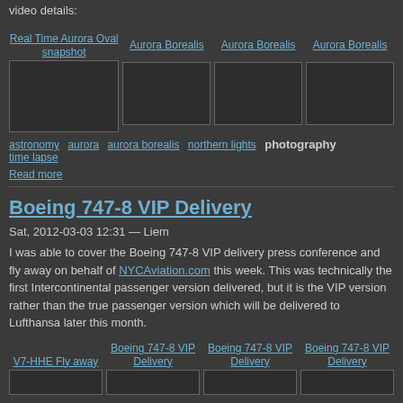video details:
[Figure (screenshot): Grid of 4 aurora borealis video thumbnails with titles: Real Time Aurora Oval snapshot, Aurora Borealis, Aurora Borealis, Aurora Borealis]
astronomy  aurora  aurora borealis  northern lights  photography  time lapse
Read more
Boeing 747-8 VIP Delivery
Sat, 2012-03-03 12:31 — Liem
I was able to cover the Boeing 747-8 VIP delivery press conference and fly away on behalf of NYCAviation.com this week. This was technically the first Intercontinental passenger version delivered, but it is the VIP version rather than the true passenger version which will be delivered to Lufthansa later this month.
[Figure (screenshot): Row of Boeing 747-8 VIP Delivery video thumbnails: V7-HHE Fly away, Boeing 747-8 VIP Delivery, Boeing 747-8 VIP Delivery, Boeing 747-8 VIP Delivery]